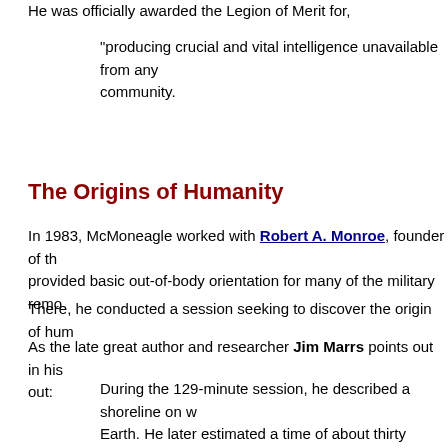He was officially awarded the Legion of Merit for,
"producing crucial and vital intelligence unavailable from any other source within the intelligence community.
The Origins of Humanity
In 1983, McMoneagle worked with Robert A. Monroe, founder of the Monroe Institute, which provided basic out-of-body orientation for many of the military remote viewers.
There, he conducted a session seeking to discover the origin of humanity.
As the late great author and researcher Jim Marrs points out in his book, Alien Agenda, he points out:
During the 129-minute session, he described a shoreline on what appeared to be Earth. He later estimated a time of about thirty million to fifty million years ago.
Cavorting on this shoreline was a large family of protohuman creatures, walking upright and possessing eyes exhibiting a spark of intelligence beyond their cranial capacity.
Two things surprised McMoneagle in this session. These creatures had a social presence, and they did not originate at that location.